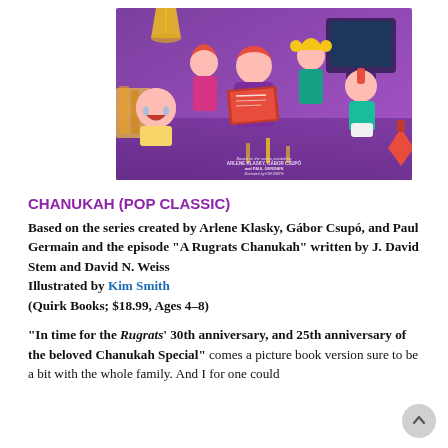[Figure (illustration): Book cover of Chanukah (Pop Classic) featuring animated Rugrats characters gathered around reading a book, illustrated in colorful cartoon style on a purple background with text crediting creators.]
CHANUKAH (POP CLASSIC)
Based on the series created by Arlene Klasky, Gábor Csupó, and Paul Germain and the episode “A Rugrats Chanukah” written by J. David Stem and David N. Weiss Illustrated by Kim Smith (Quirk Books; $18.99, Ages 4–8)
“In time for the Rugrats’ 30th anniversary, and 25th anniversary of the beloved Chanukah Special” comes a picture book version sure to be a bit with the whole family. And I for one could